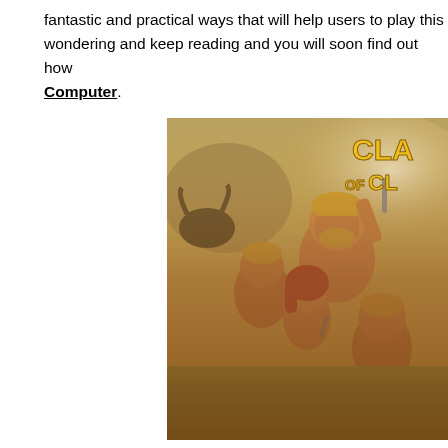fantastic and practical ways that will help users to play this wondering and keep reading and you will soon find out how Computer.
[Figure (illustration): Clash of Clans game promotional image showing animated warrior characters including barbarians with yellow helmets and a female character with red hair, charging forward on grass, with the partially visible 'Clash of Clans' logo in the upper right corner.]